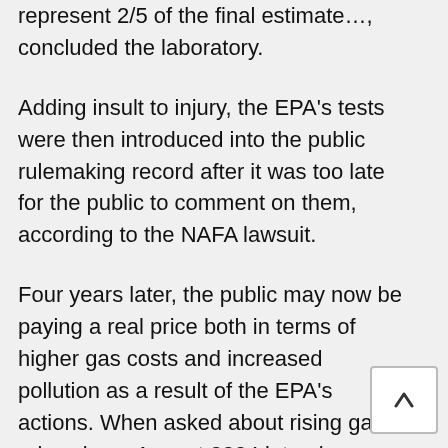represent 2/5 of the final estimate…, concluded the laboratory.
Adding insult to injury, the EPA's tests were then introduced into the public rulemaking record after it was too late for the public to comment on them, according to the NAFA lawsuit.
Four years later, the public may now be paying a real price both in terms of higher gas costs and increased pollution as a result of the EPA's actions. When asked about rising gas prices in an August 2004 interview on National Public Radio, economist Philip Verleger of the Institute for International Economics attributed the $0.50 increase